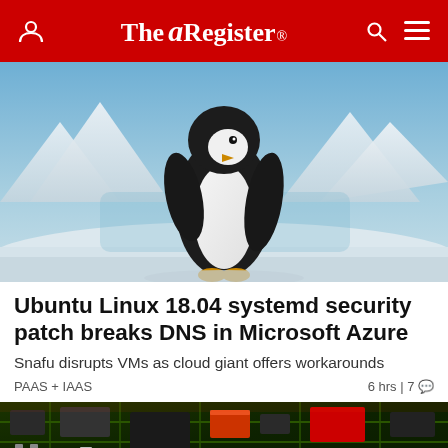The Register
[Figure (photo): A penguin standing in an Antarctic snowy landscape with mountains in the background]
Ubuntu Linux 18.04 systemd security patch breaks DNS in Microsoft Azure
Snafu disrupts VMs as cloud giant offers workarounds
PAAS + IAAS    6 hrs | 7
[Figure (photo): Close-up of a green circuit board with electronic components]